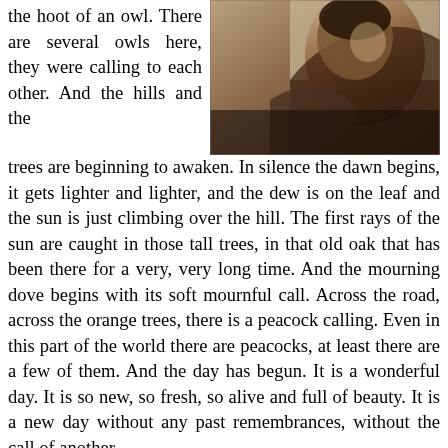the hoot of an owl. There are several owls here, they were calling to each other. And the hills and the trees are beginning to awaken. In silence the dawn begins, it gets lighter and lighter, and the dew is on the leaf and the sun is just climbing over the hill. The first rays of the sun are caught in those tall trees, in that old oak that has been there for a very, very long time. And the mourning dove begins with its soft mournful call. Across the road, across the orange trees, there is a peacock calling. Even in this part of the world there are peacocks, at least there are a few of them. And the day has begun. It is a wonderful day. It is so new, so fresh, so alive and full of beauty. It is a new day without any past remembrances, without the call of another.
[Figure (photo): Sepia-toned photograph of a person, close-up view from behind/side, head tilted, dark tones]
There is great wonder when one looks at all the beauties - those bright oranges with the dark leaves, and the few flowers, bright in their glory. One wonders at this extraordinary light which only this part of the world seems to have. One wonders